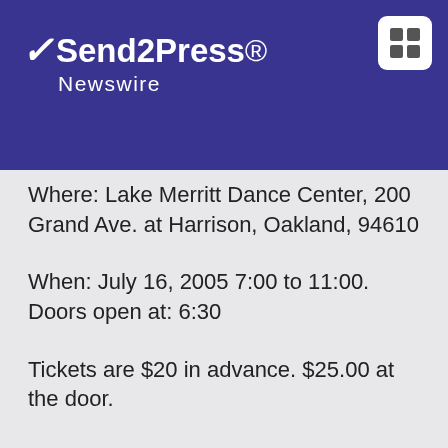Send2Press Newswire
Where: Lake Merritt Dance Center, 200 Grand Ave. at Harrison, Oakland, 94610
When: July 16, 2005 7:00 to 11:00. Doors open at: 6:30
Tickets are $20 in advance. $25.00 at the door.
For online ticket purchases: www.connectingthroughdance.org
For information: dancewithctd @ yahoo.com or call 510 501-4713